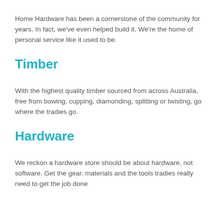Home Hardware has been a cornerstone of the community for years. In fact, we've even helped build it. We're the home of personal service like it used to be.
Timber
With the highest quality timber sourced from across Australia, free from bowing, cupping, diamonding, splitting or twisting, go where the tradies go.
Hardware
We reckon a hardware store should be about hardware, not software. Get the gear, materials and the tools tradies really need to get the job done